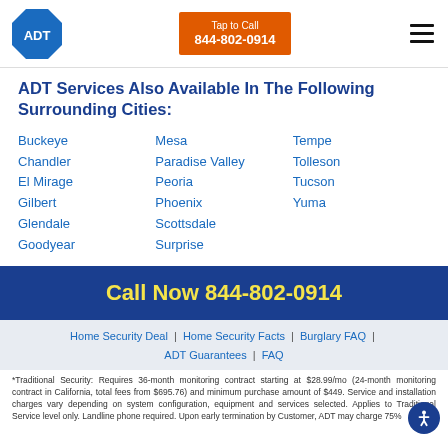ADT logo | Tap to Call 844-802-0914 | Menu
ADT Services Also Available In The Following Surrounding Cities:
Buckeye
Chandler
El Mirage
Gilbert
Glendale
Goodyear
Mesa
Paradise Valley
Peoria
Phoenix
Scottsdale
Surprise
Tempe
Tolleson
Tucson
Yuma
Call Now 844-802-0914
Home Security Deal | Home Security Facts | Burglary FAQ | ADT Guarantees | FAQ
*Traditional Security: Requires 36-month monitoring contract starting at $28.99/mo (24-month monitoring contract in California, total fees from $695.76) and minimum purchase amount of $449. Service and installation charges vary depending on system configuration, equipment and services selected. Applies to Traditional Service level only. Landline phone required. Upon early termination by Customer, ADT may charge 75%